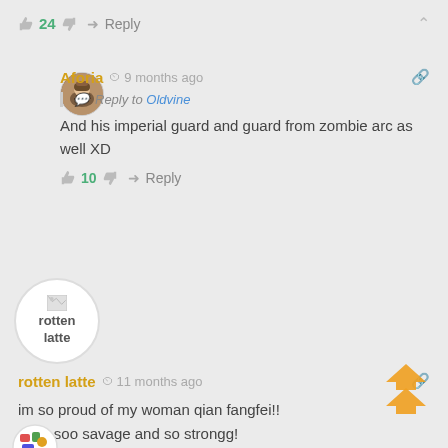👍 24 👎 → Reply ∧
[Figure (photo): Circular avatar of Aforia user showing an anime-style character]
Aforia  🕐 9 months ago
Reply to Oldvine
And his imperial guard and guard from zombie arc as well XD
👍 10 👎 → Reply
[Figure (illustration): Circular avatar with broken image icon and text 'rotten latte']
rotten latte  🕐 11 months ago
im so proud of my woman qian fangfei!!
shes soo savage and so strongg!
👍 23 👎 → Reply
[Figure (illustration): Partial bottom avatar visible at bottom of page with colorful pattern]